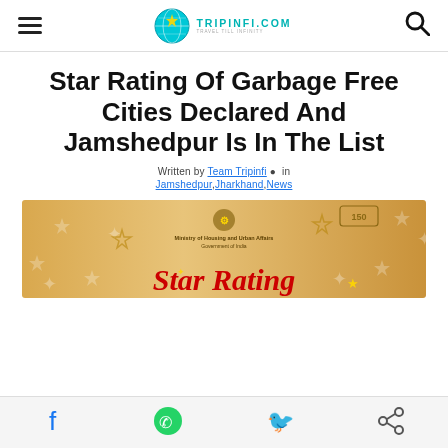TRIPINFI.COM — Travel Till Infinity (site header with hamburger menu and search icon)
Star Rating Of Garbage Free Cities Declared And Jamshedpur Is In The List
Written by Team Tripinfi • in Jamshedpur,Jharkhand,News
[Figure (photo): Ministry of Housing and Urban Affairs, Government of India — Star Rating banner with gold/tan background and stars decoration]
Social share bar with Facebook, WhatsApp, Twitter, and Share icons